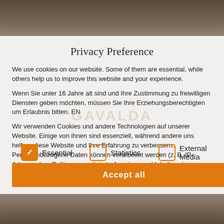[Figure (screenshot): Background photo showing a person's face/hair, partially visible at top and bottom, with a privacy preference modal overlay in the center]
Privacy Preference
We use cookies on our website. Some of them are essential, while others help us to improve this website and your experience.
Wenn Sie unter 16 Jahre alt sind und Ihre Zustimmung zu freiwilligen Diensten geben möchten, müssen Sie Ihre Erziehungsberechtigten um Erlaubnis bitten. EN
Wir verwenden Cookies und andere Technologien auf unserer Website. Einige von ihnen sind essenziell, während andere uns helfen, diese Website und Ihre Erfahrung zu verbessern. Personenbezogene Daten können verarbeitet werden (z. B. IP-Adressen), z. B. für personalisierte Anzeigen und Inhalte oder
Essential
Statistics
External Media
Accept all